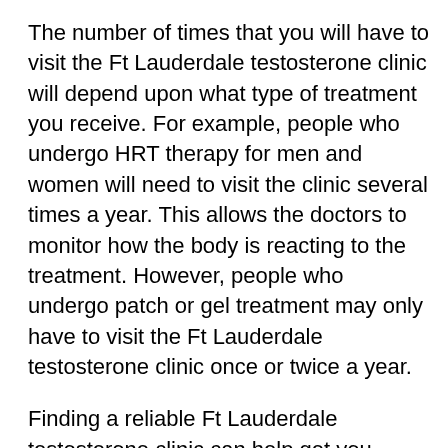The number of times that you will have to visit the Ft Lauderdale testosterone clinic will depend upon what type of treatment you receive. For example, people who undergo HRT therapy for men and women will need to visit the clinic several times a year. This allows the doctors to monitor how the body is reacting to the treatment. However, people who undergo patch or gel treatment may only have to visit the Ft Lauderdale testosterone clinic once or twice a year.
Finding a reliable Ft Lauderdale testosterone clinic can help get you started with a testosterone treatment that will help you. Get more info here: www.browarddoc.com